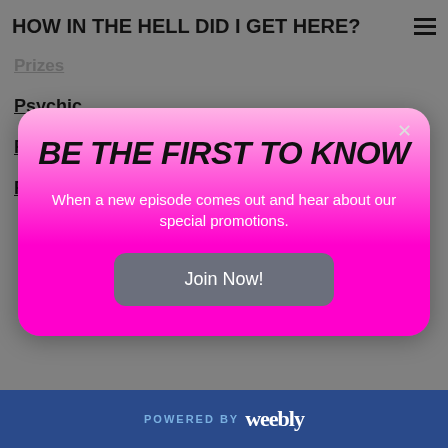HOW IN THE HELL DID I GET HERE?
Prizes
Psychic
Psychic Ability
Psycho
[Figure (screenshot): Modal popup with pink gradient background. Title: BE THE FIRST TO KNOW. Body: When a new episode comes out and hear about our special promotions. Button: Join Now!]
Raft Spiders
Rats
Reality TV Show
Record Breaking Flood
POWERED BY weebly